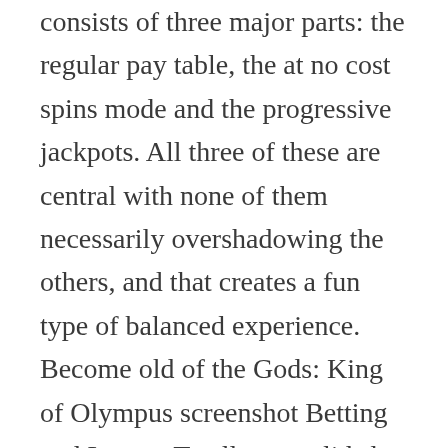consists of three major parts: the regular pay table, the at no cost spins mode and the progressive jackpots. All three of these are central with none of them necessarily overshadowing the others, and that creates a fun type of balanced experience. Become old of the Gods: King of Olympus screenshot Betting and Layout To allow a solid slot, you need a solid format with wagering options so as to are easy to manipulate and absorb. The paylines always pay from absent to right only. This happens as the chances of winning those jackpots scale with your bet size en route for keep things fair. Features and Gameplay This slot has a balance amid the different aspects of the gameplay in a way that makes a lot of sense. Along these lines, here are the payouts